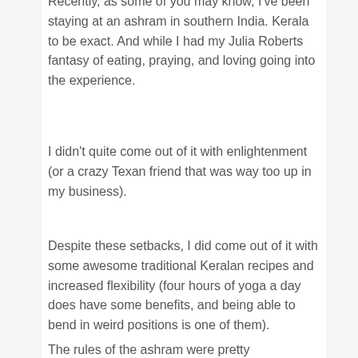Recently, as some of you may know, I've been staying at an ashram in southern India. Kerala to be exact. And while I had my Julia Roberts fantasy of eating, praying, and loving going into the experience.
I didn't quite come out of it with enlightenment (or a crazy Texan friend that was way too up in my business).
Despite these setbacks, I did come out of it with some awesome traditional Keralan recipes and increased flexibility (four hours of yoga a day does have some benefits, and being able to bend in weird positions is one of them).
The rules of the ashram were pretty